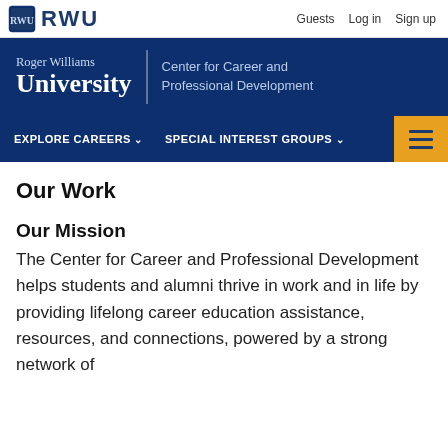RWU  Guests  Log in  Sign up
[Figure (logo): Roger Williams University logo with shield and RWU text, with 'Center for Career and Professional Development' subtitle]
EXPLORE CAREERS  SPECIAL INTEREST GROUPS
Our Work
Our Mission
The Center for Career and Professional Development helps students and alumni thrive in work and in life by providing lifelong career education assistance, resources, and connections, powered by a strong network of